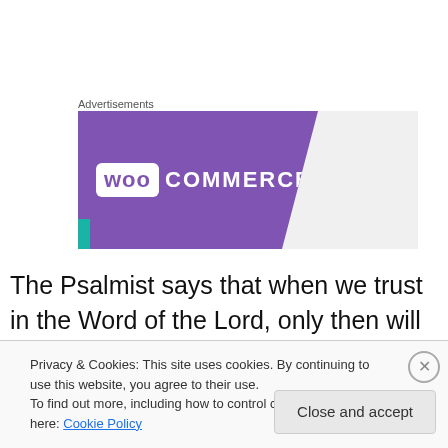Advertisements
[Figure (logo): WooCommerce logo on purple diagonal banner background]
The Psalmist says that when we trust in the Word of the Lord, only then will we have the answer for those who taunt us (v. 42) – and continues to stress God's sovereignty by asking the Lord to keep the Word of truth in
Privacy & Cookies: This site uses cookies. By continuing to use this website, you agree to their use.
To find out more, including how to control cookies, see here: Cookie Policy
Close and accept